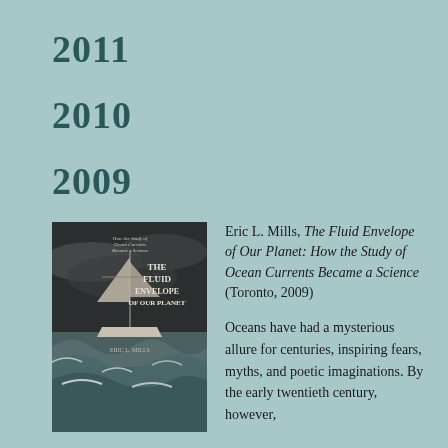2011
2010
2009
[Figure (photo): Book cover of 'The Fluid Envelope of Our Planet: How the Study of Ocean Currents Became a Science' by Eric L. Mills, showing a sailing ship on stormy seas]
Eric L. Mills, The Fluid Envelope of Our Planet: How the Study of Ocean Currents Became a Science (Toronto, 2009)
Oceans have had a mysterious allure for centuries, inspiring fears, myths, and poetic imaginations. By the early twentieth century, however,